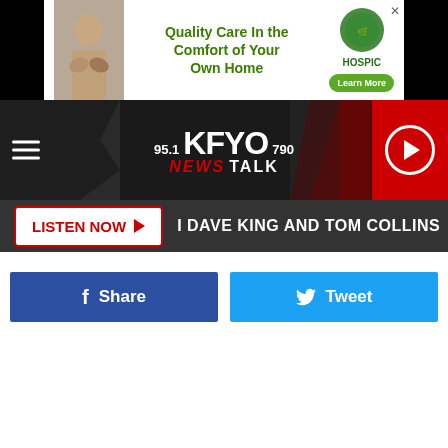[Figure (screenshot): Advertisement banner: Quality Care In the Comfort of Your Own Home - Hospice, with Learn More button]
[Figure (logo): KFYO 95.1 / 790 News Talk radio station header with hamburger menu and play button]
LISTEN NOW | DAVE KING AND TOM COLLINS | SUNRISE LBK WI
[Figure (screenshot): Facebook Share and Twitter Tweet social sharing buttons]